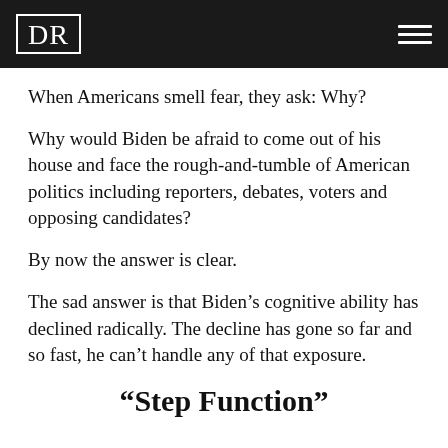DR
When Americans smell fear, they ask: Why?
Why would Biden be afraid to come out of his house and face the rough-and-tumble of American politics including reporters, debates, voters and opposing candidates?
By now the answer is clear.
The sad answer is that Biden’s cognitive ability has declined radically. The decline has gone so far and so fast, he can’t handle any of that exposure.
“Step Function”